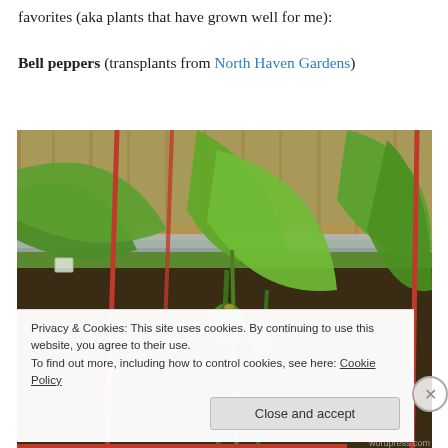favorites (aka plants that have grown well for me):
Bell peppers (transplants from North Haven Gardens)
[Figure (photo): Close-up photo of bell pepper plants growing in a raised garden bed with red stakes, showing green foliage and small developing peppers, with a wooden fence in the background]
Privacy & Cookies: This site uses cookies. By continuing to use this website, you agree to their use.
To find out more, including how to control cookies, see here: Cookie Policy
Close and accept